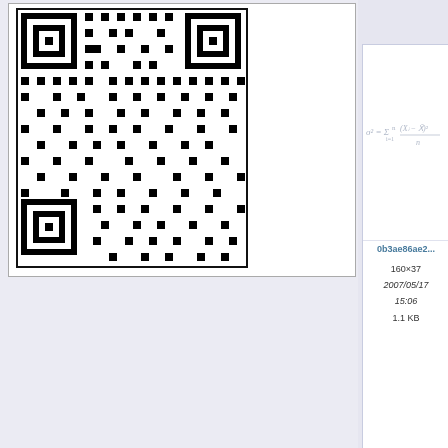[Figure (other): QR code (black and white 2D barcode) in a white bordered box]
[Figure (math-figure): Statistical formula: sigma-squared equals sum from i=1 to n of (X_i minus X-bar) squared divided by n]
0b3ae86ae2...
160×37
2007/05/17
15:06
1.1 KB
[Figure (math-figure): Formula: (X-bar minus mu) divided by (sigma/sqrt(n)) arrow n to infinity (X-bar minus mu) divided by (sigma/sqrt(n))]
0b137f0e726...
157×47
2007/06/05
15:42
1.2 KB
0b16...
20...
0b92...
3...
20...